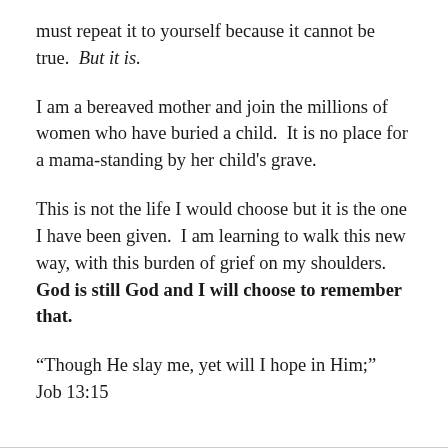must repeat it to yourself because it cannot be true.  But it is.
I am a bereaved mother and join the millions of women who have buried a child.  It is no place for a mama-standing by her child's grave.
This is not the life I would choose but it is the one I have been given.  I am learning to walk this new way, with this burden of grief on my shoulders. God is still God and I will choose to remember that.
“Though He slay me, yet will I hope in Him;” Job 13:15